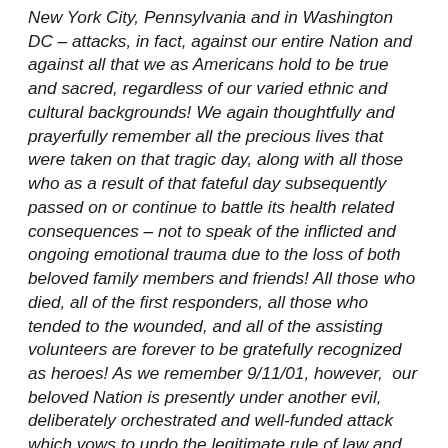New York City, Pennsylvania and in Washington DC – attacks, in fact, against our entire Nation and against all that we as Americans hold to be true and sacred, regardless of our varied ethnic and cultural backgrounds! We again thoughtfully and prayerfully remember all the precious lives that were taken on that tragic day, along with all those who as a result of that fateful day subsequently passed on or continue to battle its health related consequences – not to speak of the inflicted and ongoing emotional trauma due to the loss of both beloved family members and friends! All those who died, all of the first responders, all those who tended to the wounded, and all of the assisting volunteers are forever to be gratefully recognized as heroes! As we remember 9/11/01, however,  our beloved Nation is presently under another evil, deliberately orchestrated and well-funded attack which vows to undo the legitimate rule of law and to